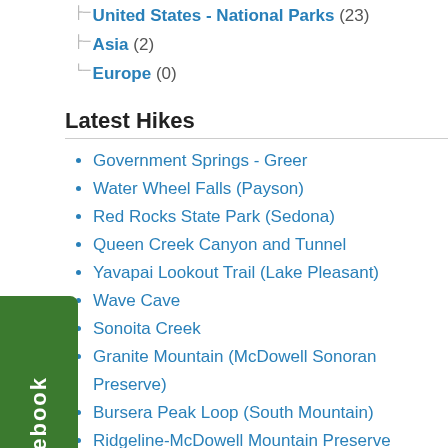United States - National Parks (23)
Asia (2)
Europe (0)
Latest Hikes
Government Springs - Greer
Water Wheel Falls (Payson)
Red Rocks State Park (Sedona)
Queen Creek Canyon and Tunnel
Yavapai Lookout Trail (Lake Pleasant)
Wave Cave
Sonoita Creek
Granite Mountain (McDowell Sonoran Preserve)
Bursera Peak Loop (South Mountain)
Ridgeline-McDowell Mountain Preserve
Most Read Hikes
Camelback Mountain (Echo Canyon Trail)
Tom's Thumb
Flat Iron (Siphon Draw)